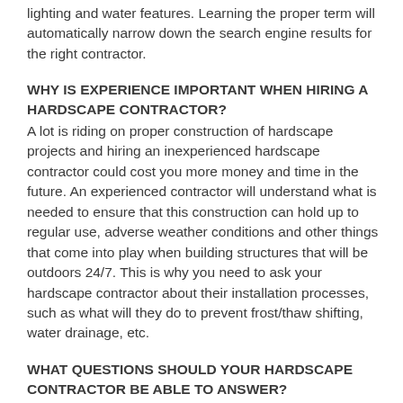lighting and water features. Learning the proper term will automatically narrow down the search engine results for the right contractor.
WHY IS EXPERIENCE IMPORTANT WHEN HIRING A HARDSCAPE CONTRACTOR?
A lot is riding on proper construction of hardscape projects and hiring an inexperienced hardscape contractor could cost you more money and time in the future. An experienced contractor will understand what is needed to ensure that this construction can hold up to regular use, adverse weather conditions and other things that come into play when building structures that will be outdoors 24/7. This is why you need to ask your hardscape contractor about their installation processes, such as what will they do to prevent frost/thaw shifting, water drainage, etc.
WHAT QUESTIONS SHOULD YOUR HARDSCAPE CONTRACTOR BE ABLE TO ANSWER?
A hardscape contractor should be able to give you detailed answers on the various aspects of the project and what steps